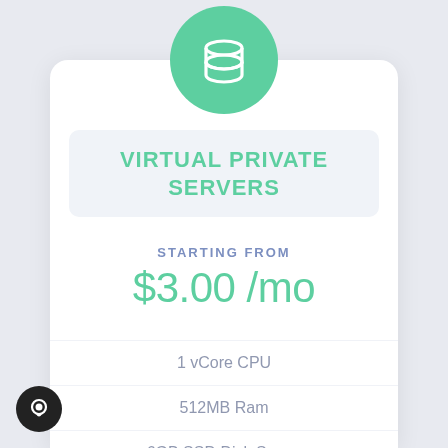[Figure (illustration): Green circular icon with a database/server stack symbol in white]
VIRTUAL PRIVATE SERVERS
STARTING FROM
$3.00 /mo
1 vCore CPU
512MB Ram
6GB SSD Disk Space
1TB @ 500MB/s Bandwidth